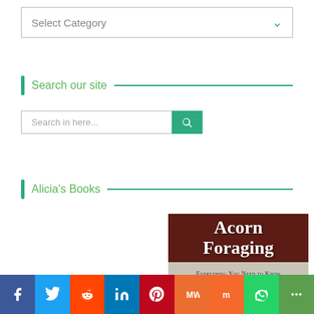Select Category
Search our site
Search in here...
Alicia's Books
[Figure (photo): Book cover for 'Acorn Foraging: Everything You Need to Know to Harvest One of Autumn's Best']
Social share bar: Facebook, Twitter, Reddit, LinkedIn, Pinterest, MixedWrench, Mix, WhatsApp, More